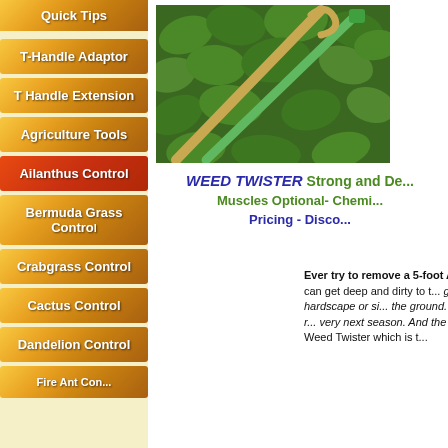Quick Tips
T-Handle Adaptor
T Handle Extension
Agriculture Tools
Ailanthus Control
Bermuda Grass Control
Crabgrass Control
Cactus Control
Dandelion Control
[Figure (photo): Two crossed garden tools (weed twister tools) on a background of ivy/green leaves]
WEED TWISTER Strong and De... Muscles Optional- Chemi... Pricing - Disco...
Ever try to remove a 5-foot Ailanthus A... very few tools can get deep and dirty to t... get into your foundation, hardscape or si... the ground. If you do, we have found by r... very next season. And the roots will be b... Handle Weed Twister which is t...